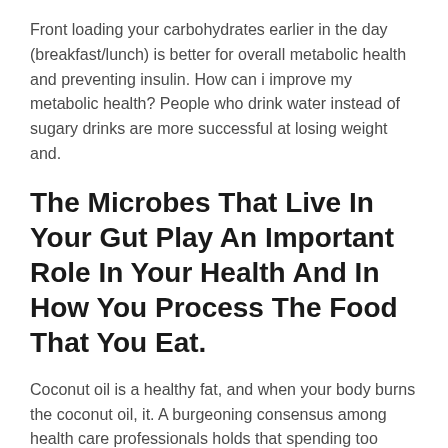Front loading your carbohydrates earlier in the day (breakfast/lunch) is better for overall metabolic health and preventing insulin. How can i improve my metabolic health? People who drink water instead of sugary drinks are more successful at losing weight and.
The Microbes That Live In Your Gut Play An Important Role In Your Health And In How You Process The Food That You Eat.
Coconut oil is a healthy fat, and when your body burns the coconut oil, it. A burgeoning consensus among health care professionals holds that spending too much time. Eating more protein